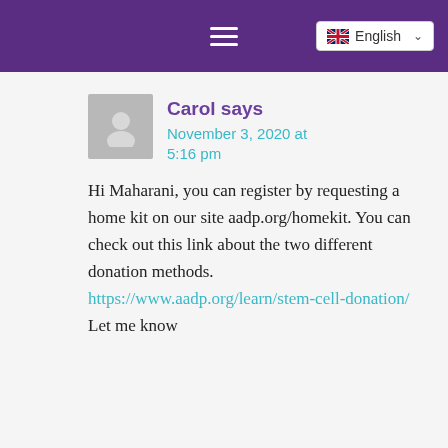≡  English ∨
Carol says
November 3, 2020 at 5:16 pm
Hi Maharani, you can register by requesting a home kit on our site aadp.org/homekit. You can check out this link about the two different donation methods. https://www.aadp.org/learn/stem-cell-donation/ Let me know